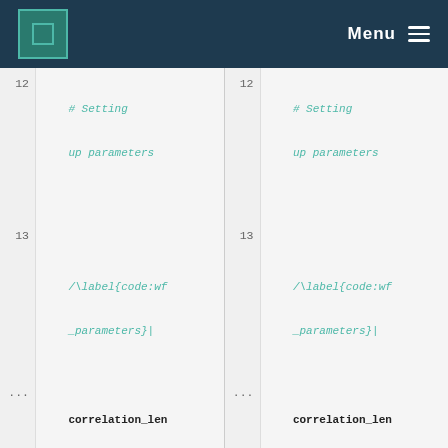MPCDF — Menu
[Figure (screenshot): Code diff view showing two side-by-side panels with Python code. Line numbers 12, 13, ..., 55, 56 visible. Code includes comments '# Setting up parameters', label tag, correlation_length_scale = 1., comments about typical distance, @@ diff markers, if __name__ == '__main__': block, and '# Probing the uncertainty'.]